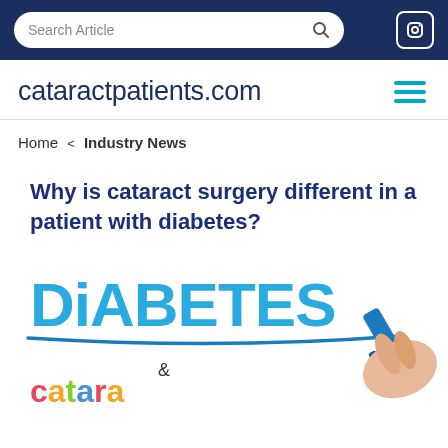Search Article
cataractpatients.com
Home < Industry News
Why is cataract surgery different in a patient with diabetes?
[Figure (photo): Photo showing the word DIABETES written in blue marker on a clear surface, with a hand holding a blue marker and the word 'cataracts' being written below in colorful letters]